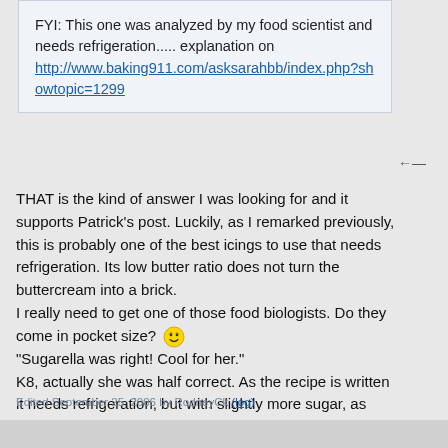FYI: This one was analyzed by my food scientist and needs refrigeration..... explanation on http://www.baking911.com/asksarahbb/index.php?showtopic=1299
THAT is the kind of answer I was looking for and it supports Patrick's post. Luckily, as I remarked previously, this is probably one of the best icings to use that needs refrigeration. Its low butter ratio does not turn the buttercream into a brick.
I really need to get one of those food biologists. Do they come in pocket size? 😄
"Sugarella was right! Cool for her."
K8, actually she was half correct. As the recipe is written it needs refrigeration, but with slightly more sugar, as Sarah pointed out, despite the fact it uses heavy whipping cream, it can be safely edible at room temperature.
Edited September 25, 2006 by RodneyCk (log)